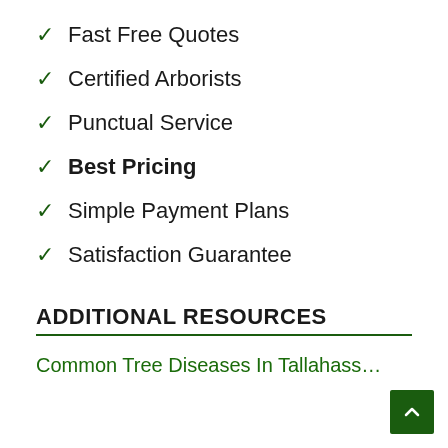Fast Free Quotes
Certified Arborists
Punctual Service
Best Pricing
Simple Payment Plans
Satisfaction Guarantee
ADDITIONAL RESOURCES
Common Tree Diseases In Tallahass…